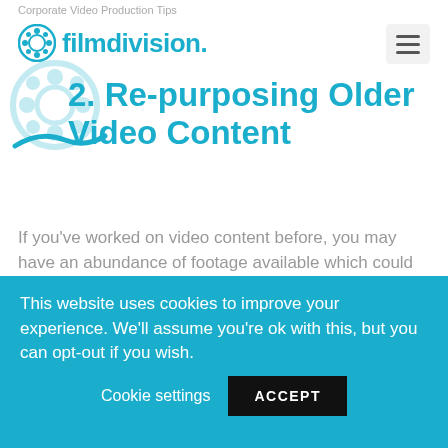Corporate Video Production Tips
[Figure (logo): filmdivision. logo in teal/blue with film reel graphic]
2. Re-purposing Older Video Content
If you've worked on video content before, you may have an abundance of footage available which could easily be re-edited into a relevant and impactful new video. Combine this with a video call interview and you may have a powerful piece of content at your disposal! Archive editing also allows you to repurpose previous video interviews. So as long as these videos are delivering the correct message, all
This website uses cookies to improve your experience. We'll assume you're ok with this, but you can opt-out if you wish. Cookie settings ACCEPT